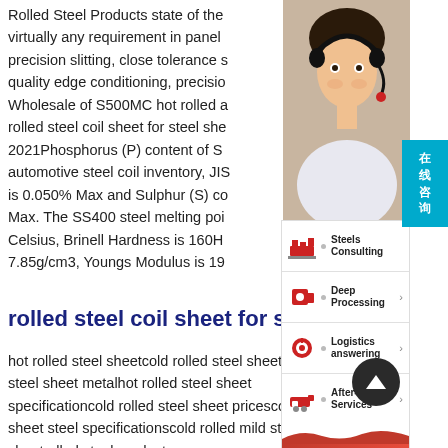Rolled Steel Products state of the virtually any requirement in panel precision slitting, close tolerance quality edge conditioning, precision Wholesale of S500MC hot rolled rolled steel coil sheet for steel she 2021Phosphorus (P) content of S automotive steel coil inventory, JIS is 0.050% Max and Sulphur (S) Max. The SS400 steel melting poi Celsius, Brinell Hardness is 160H 7.85g/cm3, Youngs Modulus is 19
[Figure (photo): Customer service representative wearing a headset, smiling]
[Figure (infographic): Right-side service menu panel with options: Steels Consulting, Deep Processing, Logistics answering, After-sale Services, and Online Consultation bar]
rolled steel coil sheet for ste
hot rolled steel sheetcold rolled steel sheet lled steel sheet metalhot rolled steel sheet specificationcold rolled steel sheet pricescold rolled sheet steel specificationscold rolled mild steel sheetrolled steel products